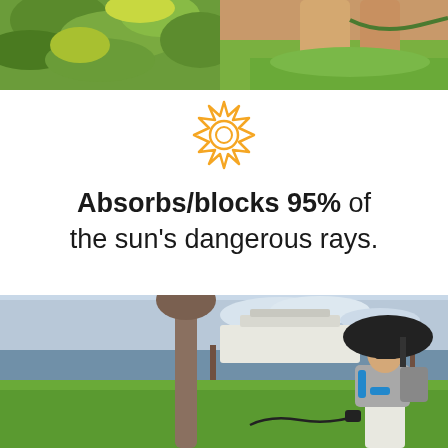[Figure (photo): Partial view of a person's legs and feet near green foliage and grass, holding a garden hose, cropped at top of page]
[Figure (illustration): Sun icon outline in golden/amber color, stylized with pointed rays around a circle with inner ring]
Absorbs/blocks 95% of the sun's dangerous rays.
[Figure (photo): Woman walking outdoors near a marina, wearing sunglasses and a gray shirt, carrying a backpack with a large dark canopy/personal umbrella shade attached, holding a leash, green grass and water with boats in background]